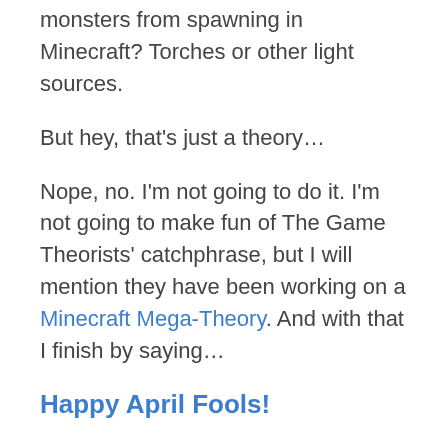highlights: how do you stop the monsters from spawning in Minecraft? Torches or other light sources.
But hey, that's just a theory…
Nope, no. I'm not going to do it. I'm not going to make fun of The Game Theorists' catchphrase, but I will mention they have been working on a Minecraft Mega-Theory. And with that I finish by saying…
Happy April Fools!
Now you get to decide if this post was an April Fools joke or not.
This post is in the category: